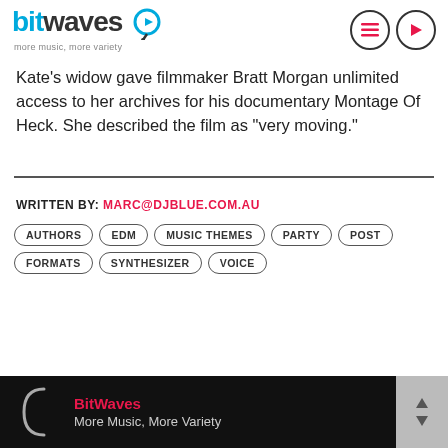BitWaves — more music, more variety
Kate’s widow gave filmmaker Bratt Morgan unlimited access to her archives for his documentary Montage Of Heck. She described the film as “very moving.”
WRITTEN BY: MARC@DJBLUE.COM.AU
AUTHORS  EDM  MUSIC THEMES  PARTY  POST FORMATS  SYNTHESIZER  VOICE
BitWaves — More Music, More Variety